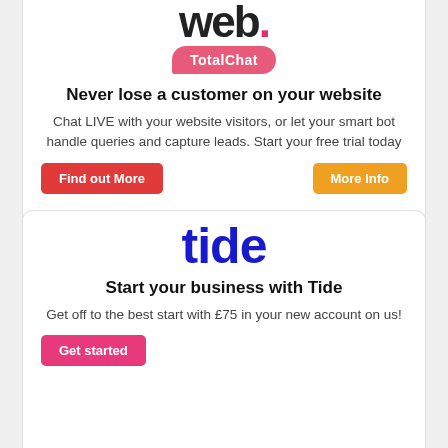[Figure (logo): Web. TotalChat logo — bold 'web.' text with a red dot, and a pink TotalChat speech bubble badge below]
Never lose a customer on your website
Chat LIVE with your website visitors, or let your smart bot handle queries and capture leads. Start your free trial today
[Figure (logo): Tide logo in bold dark blue text]
Start your business with Tide
Get off to the best start with £75 in your new account on us!